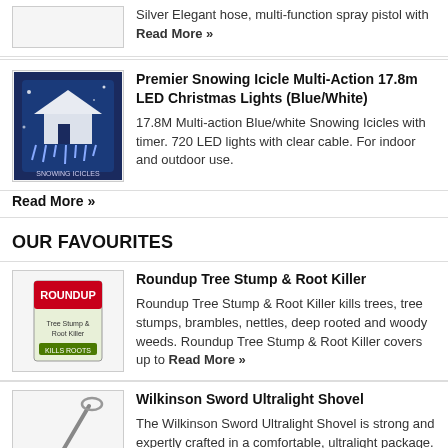Silver Elegant hose, multi-function spray pistol with Read More »
Premier Snowing Icicle Multi-Action 17.8m LED Christmas Lights (Blue/White)
17.8M Multi-action Blue/white Snowing Icicles with timer. 720 LED lights with clear cable. For indoor and outdoor use. Read More »
OUR FAVOURITES
Roundup Tree Stump & Root Killer
Roundup Tree Stump & Root Killer kills trees, tree stumps, brambles, nettles, deep rooted and woody weeds. Roundup Tree Stump & Root Killer covers up to Read More »
Wilkinson Sword Ultralight Shovel
The Wilkinson Sword Ultralight Shovel is strong and expertly crafted in a comfortable, ultralight package. It combines the perfect mix of comfort, precision and lightweight usability.